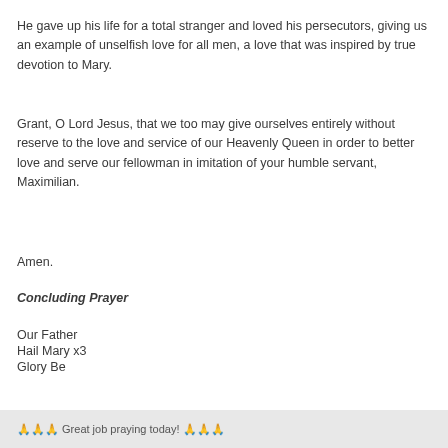He gave up his life for a total stranger and loved his persecutors, giving us an example of unselfish love for all men, a love that was inspired by true devotion to Mary.
Grant, O Lord Jesus, that we too may give ourselves entirely without reserve to the love and service of our Heavenly Queen in order to better love and serve our fellowman in imitation of your humble servant, Maximilian.
Amen.
Concluding Prayer
Our Father
Hail Mary x3
Glory Be
🙏🙏🙏 Great job praying today! 🙏🙏🙏